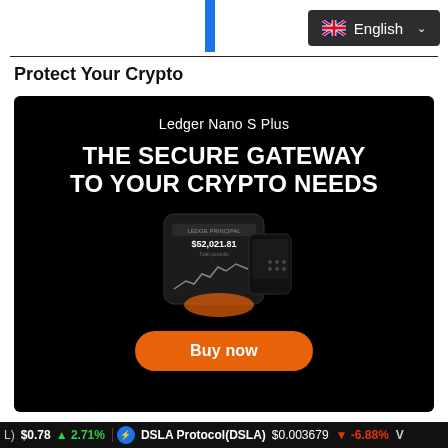English
Protect Your Crypto
[Figure (illustration): Ledger Nano S Plus advertisement with black background. Text reads 'Ledger Nano S Plus' and 'THE SECURE GATEWAY TO YOUR CRYPTO NEEDS'. Shows a mobile app mockup with crypto portfolio value $52,021.81 and a line chart. Orange 'Buy now' button at the bottom.]
(L) $0.78 ↑ 2.71%   DSLA Protocol(DSLA) $0.003679 ↓ -6.88%